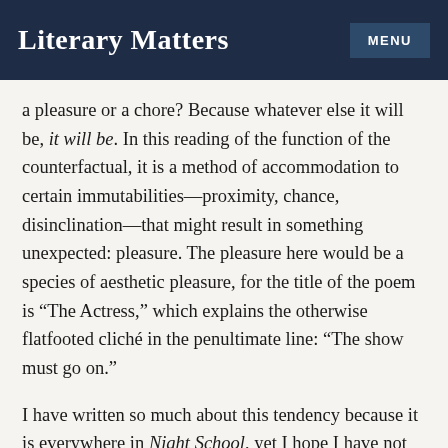Literary Matters | MENU
a pleasure or a chore? Because whatever else it will be, it will be. In this reading of the function of the counterfactual, it is a method of accommodation to certain immutabilities—proximity, chance, disinclination—that might result in something unexpected: pleasure. The pleasure here would be a species of aesthetic pleasure, for the title of the poem is “The Actress,” which explains the otherwise flatfooted cliché in the penultimate line: “The show must go on.”
I have written so much about this tendency because it is everywhere in Night School, yet I hope I have not suggested this is an unconscious gesture on